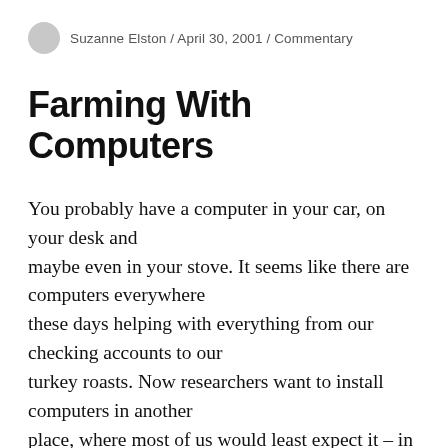Suzanne Elston / April 30, 2001 / Commentary
Farming With Computers
You probably have a computer in your car, on your desk and maybe even in your stove. It seems like there are computers everywhere these days helping with everything from our checking accounts to our turkey roasts. Now researchers want to install computers in another place, where most of us would least expect it – in Old MacDonald's tractor. The Great Lakes Radio Consortium's